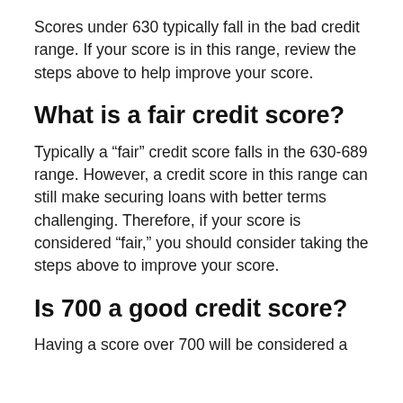Scores under 630 typically fall in the bad credit range. If your score is in this range, review the steps above to help improve your score.
What is a fair credit score?
Typically a “fair” credit score falls in the 630-689 range. However, a credit score in this range can still make securing loans with better terms challenging. Therefore, if your score is considered “fair,” you should consider taking the steps above to improve your score.
Is 700 a good credit score?
Having a score over 700 will be considered a